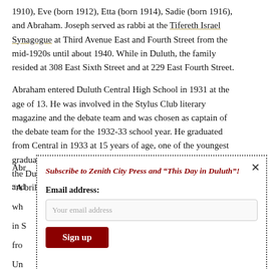1910), Eve (born 1912), Etta (born 1914), Sadie (born 1916), and Abraham. Joseph served as rabbi at the Tifereth Israel Synagogue at Third Avenue East and Fourth Street from the mid-1920s until about 1940. While in Duluth, the family resided at 308 East Sixth Street and at 229 East Fourth Street.
Abraham entered Duluth Central High School in 1931 at the age of 13. He was involved in the Stylus Club literary magazine and the debate team and was chosen as captain of the debate team for the 1932-33 school year. He graduated from Central in 1933 at 15 years of age, one of the youngest graduating students in Duluth high school history, according to the Duluth Herald. Next to his yearbook photo is the caption: “A brilliant scholar, and Central’s finest orator.”
[Figure (other): Modal popup with dashed border containing a newsletter subscription form for Zenith City Press. Includes title 'Subscribe to Zenith City Press and "This Day in Duluth"!', email address label, email input field with placeholder, and a dark red 'Sign up' button. A close (×) button is in the top right corner.]
Abr... and... wh... in S... fro... Un... bus... 194... In I... Abr...